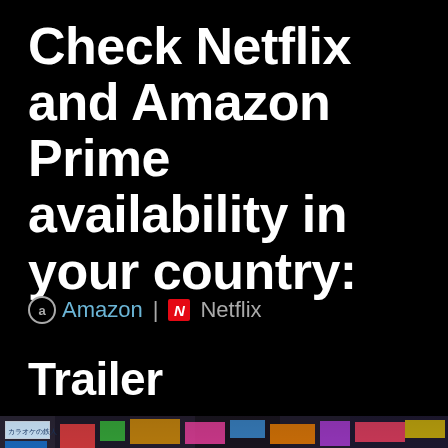Check Netflix and Amazon Prime availability in your country:
Amazon | N Netflix
Trailer
[Figure (photo): Photo of a group of people standing in a busy Japanese street at night with neon signs and colorful storefronts including a karaoke sign in Japanese characters]